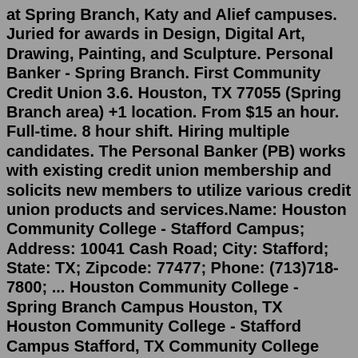at Spring Branch, Katy and Alief campuses. Juried for awards in Design, Digital Art, Drawing, Painting, and Sculpture. Personal Banker - Spring Branch. First Community Credit Union 3.6. Houston, TX 77055 (Spring Branch area) +1 location. From $15 an hour. Full-time. 8 hour shift. Hiring multiple candidates. The Personal Banker (PB) works with existing credit union membership and solicits new members to utilize various credit union products and services.Name: Houston Community College - Stafford Campus; Address: 10041 Cash Road; City: Stafford; State: TX; Zipcode: 77477; Phone: (713)718-7800; ... Houston Community College - Spring Branch Campus Houston, TX Houston Community College - Stafford Campus Stafford, TX Community College Finder.By submitting this form, you agree to receive informational phone, text and/or email communications from Houston Community College. Standard text messaging rates will apply to any messages received from HCC. You have the right to change your communication preferences at any...